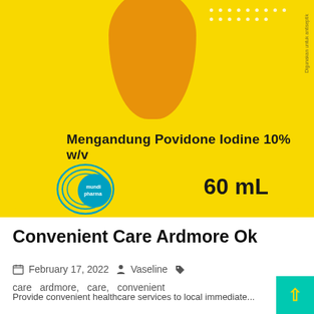[Figure (photo): Close-up photo of a yellow plastic bottle of Povidone Iodine antiseptic solution. The label reads 'Mengandung Povidone Iodine 10% w/v' and '60 mL'. A Mundipharma logo (blue circle with lines) is visible on the lower left of the bottle. There is an orange cross/plus shape at the top and a dotted pattern.]
Convenient Care Ardmore Ok
February 17, 2022   Vaseline   care  ardmore,  care,  convenient
Provide convenient healthcare services to local immediate...